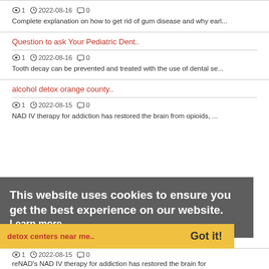1  2022-08-16  0
Complete explanation on how to get rid of gum disease and why earl...
Question to ask Your Pediatric Dent..
1  2022-08-16  0
Tooth decay can be prevented and treated with the use of dental se...
alcohol detox orange county..
This website uses cookies to ensure you get the best experience on our website.
1  2022-08-15  0
NAD IV therapy for addiction has restored the brain from opioids, ...
Learn more
detox centers near me..
Got it!
1  2022-08-15  0
reNAD's NAD IV therapy for addiction has restored the brain for